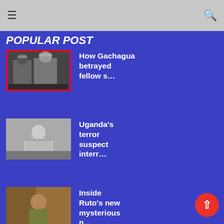≡ [hamburger menu] [search icon]
POPULAR POST
[Figure (photo): Two men in suits and hats, news thumbnail with red border]
How Gachagua betrayed fellow s…
[Figure (photo): Person holding a sign, news thumbnail]
Uganda's terror suspect interr…
[Figure (photo): Man smiling, news thumbnail]
Inside Ruto's new mysterious n…
[Figure (photo): Group of people outdoors, news thumbnail]
Kiambaa residents regret elect…